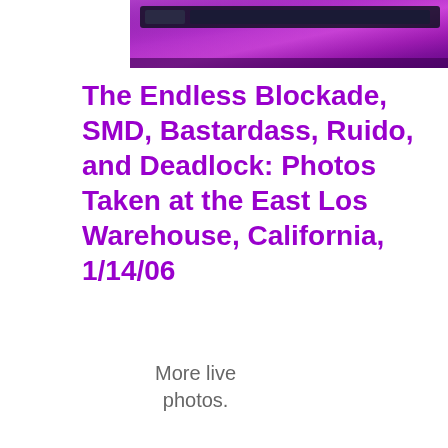[Figure (photo): Partial photo at top showing a purple/violet metallic background with a dark bar element, cropped at the top edge of the page]
The Endless Blockade, SMD, Bastardass, Ruido, and Deadlock: Photos Taken at the East Los Warehouse, California, 1/14/06
More live photos.
Read
[Figure (photo): Partial photo at bottom showing a person in a pink/salmon top and blue jeans, cropped at the bottom edge of the page, with dark elements on either side]